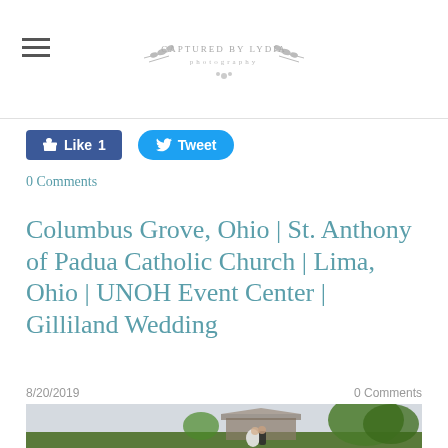CAPTURED BY LYDIA Photography
[Figure (logo): Captured by Lydia Photography logo with decorative leaf/floral elements]
Like 1
Tweet
0 Comments
Columbus Grove, Ohio | St. Anthony of Padua Catholic Church | Lima, Ohio | UNOH Event Center | Gilliland Wedding
8/20/2019   0 Comments
[Figure (photo): Wedding couple kissing in front of a covered bridge surrounded by green trees and fields under a cloudy sky]